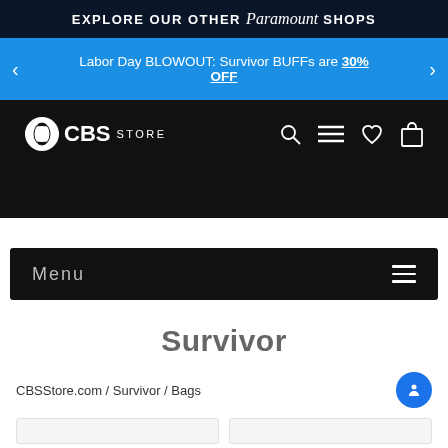EXPLORE OUR OTHER Paramount SHOPS
Labor Day BLOWOUT: Survivor BUFFs are 30% OFF
[Figure (screenshot): CBS Store navigation header with CBS Store logo on left and search, menu, wishlist, cart icons on right, on black background]
Menu
Survivor
CBSStore.com / Survivor / Bags